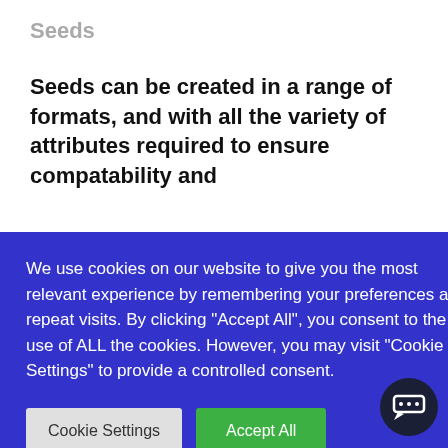Seeds
Seeds can be created in a range of formats, and with all the variety of attributes required to ensure compatability and …ta.
…omers, …nents …attributes …ddress, …tom
[Figure (screenshot): Cookie consent overlay popup with blue background. Text reads: 'We use cookies on our website to give you the most relevant experience by remembering your preferences and repeat visits. By clicking "Accept All", you consent to the use of ALL the cookies. However, you may visit "Cookie Settings" to provide a controlled consent.' Two buttons: 'Cookie Settings' (gray) and 'Accept All' (green).]
[Figure (other): Dark navy circular chat bubble button icon in bottom right corner.]